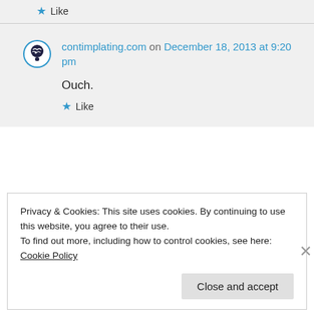★ Like
contimplating.com on December 18, 2013 at 9:20 pm
Ouch.
★ Like
Privacy & Cookies: This site uses cookies. By continuing to use this website, you agree to their use.
To find out more, including how to control cookies, see here: Cookie Policy
Close and accept